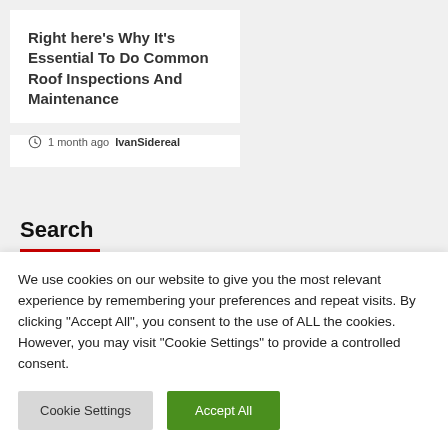Right here's Why It's Essential To Do Common Roof Inspections And Maintenance
1 month ago  IvanSidereal
Search
We use cookies on our website to give you the most relevant experience by remembering your preferences and repeat visits. By clicking "Accept All", you consent to the use of ALL the cookies. However, you may visit "Cookie Settings" to provide a controlled consent.
Cookie Settings  Accept All